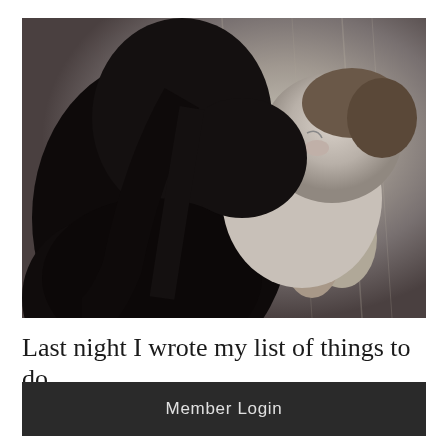[Figure (photo): Black and white photograph of a woman with long dark hair holding and nuzzling a smiling toddler/baby. The child has its arms around the woman's head. Warm wooden background.]
Last night I wrote my list of things to do
Member Login